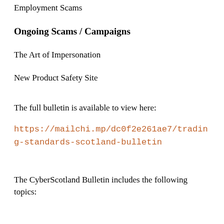Employment Scams
Ongoing Scams / Campaigns
The Art of Impersonation
New Product Safety Site
The full bulletin is available to view here:
https://mailchi.mp/dc0f2e261ae7/trading-standards-scotland-bulletin
The CyberScotland Bulletin includes the following topics: